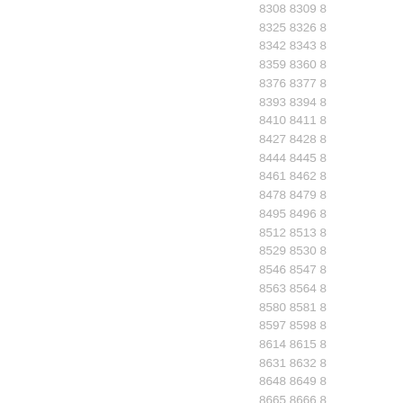8308 8309 8
8325 8326 8
8342 8343 8
8359 8360 8
8376 8377 8
8393 8394 8
8410 8411 8
8427 8428 8
8444 8445 8
8461 8462 8
8478 8479 8
8495 8496 8
8512 8513 8
8529 8530 8
8546 8547 8
8563 8564 8
8580 8581 8
8597 8598 8
8614 8615 8
8631 8632 8
8648 8649 8
8665 8666 8
8682 8683 8
8699 8700 8
8716 8717 8
8733 8734 8
8750 8751 8
8767 8768 8
8784 8795 8